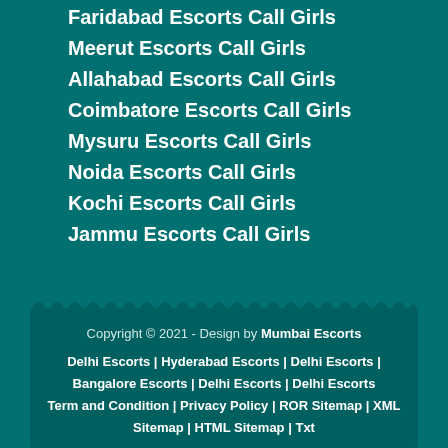Faridabad Escorts Call Girls
Meerut Escorts Call Girls
Allahabad Escorts Call Girls
Coimbatore Escorts Call Girls
Mysuru Escorts Call Girls
Noida Escorts Call Girls
Kochi Escorts Call Girls
Jammu Escorts Call Girls
Copyright © 2021 - Design by Mumbai Escorts
Delhi Escorts | Hyderabad Escorts | Delhi Escorts | Bangalore Escorts | Delhi Escorts | Delhi Escorts
Term and Condition | Privacy Policy | ROR Sitemap | XML Sitemap | HTML Sitemap | Txt